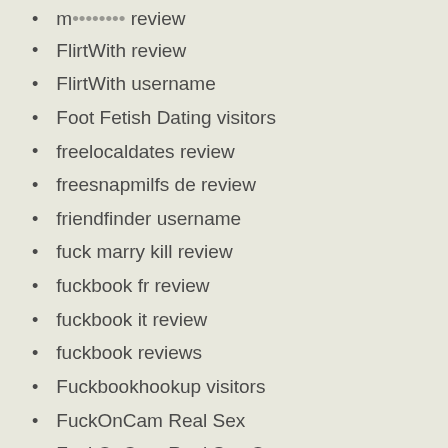FlirtWith review
FlirtWith username
Foot Fetish Dating visitors
freelocaldates review
freesnapmilfs de review
friendfinder username
fuck marry kill review
fuckbook fr review
fuckbook it review
fuckbook reviews
Fuckbookhookup visitors
FuckOnCam Real Sex
FuckOnCam Real Sex Cam
FuckOnCam Web Cams Chat Room
FuckOnCam XXX